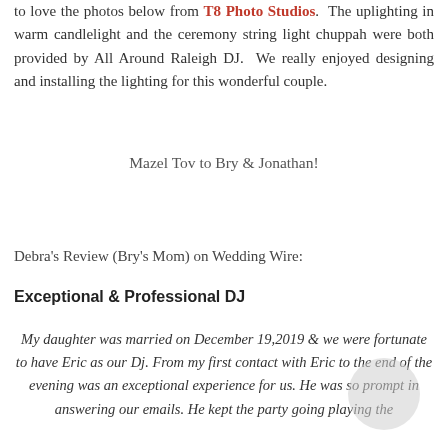to love the photos below from T8 Photo Studios. The uplighting in warm candlelight and the ceremony string light chuppah were both provided by All Around Raleigh DJ. We really enjoyed designing and installing the lighting for this wonderful couple.
Mazel Tov to Bry & Jonathan!
Debra's Review (Bry's Mom) on Wedding Wire:
Exceptional & Professional DJ
My daughter was married on December 19,2019 & we were fortunate to have Eric as our Dj. From my first contact with Eric to the end of the evening was an exceptional experience for us. He was so prompt in answering our emails. He kept the party going playing the